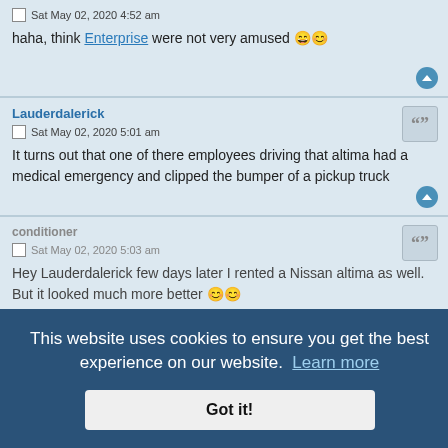Sat May 02, 2020 4:52 am
haha, think Enterprise were not very amused 😄😊
Lauderdalerick
Sat May 02, 2020 5:01 am
It turns out that one of there employees driving that altima had a medical emergency and clipped the bumper of a pickup truck
conditioner
Sat May 02, 2020 5:03 am
Hey Lauderdalerick few days later I rented a Nissan altima as well. But it looked much more better 😊😊 I really like this car.
This website uses cookies to ensure you get the best experience on our website. Learn more
Got it!